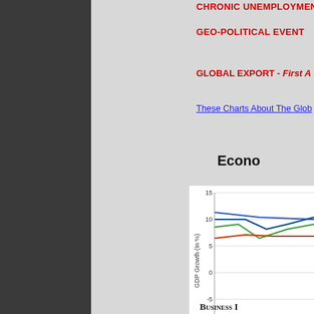CHRONIC UNEMPLOYMENT
GEO-POLITICAL EVENT
GLOBAL EXPORT - First A
These Charts About The Glob
Econo
[Figure (line-chart): Multi-line chart showing GDP Growth (In %) over years starting from 2007. Lines appear at approximately 6, 8-10, 9-10, and 11-12 percent levels, partially cropped on right side.]
BUSINESS I